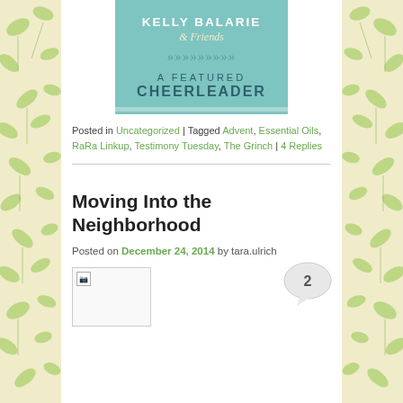[Figure (logo): Kelly Balarie & Friends - A Featured Cheerleader badge/logo with teal background]
Posted in Uncategorized | Tagged Advent, Essential Oils, RaRa Linkup, Testimony Tuesday, The Grinch | 4 Replies
Moving Into the Neighborhood
Posted on December 24, 2014 by tara.ulrich
[Figure (photo): Broken/missing image placeholder]